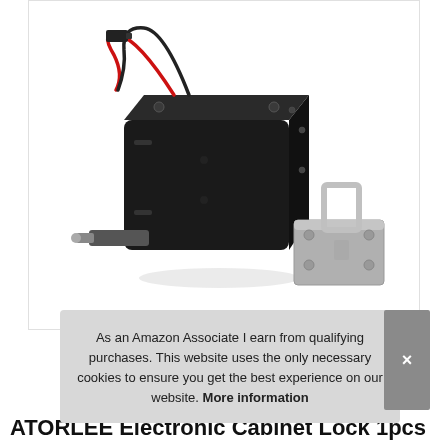[Figure (photo): Electronic cabinet lock (solenoid lock) in black with red and black wires and a connector, shown next to a silver metal bracket/strike plate. Product photo on white background.]
As an Amazon Associate I earn from qualifying purchases. This website uses the only necessary cookies to ensure you get the best experience on our website. More information
ATORLEE Electronic Cabinet Lock 1pcs